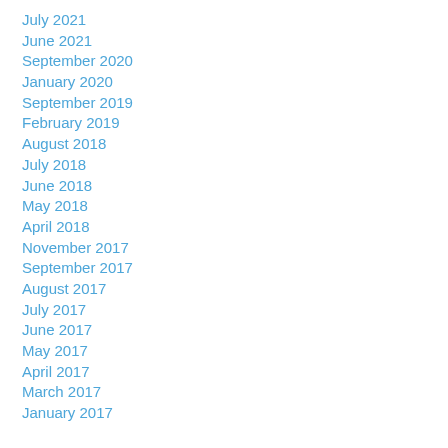July 2021
June 2021
September 2020
January 2020
September 2019
February 2019
August 2018
July 2018
June 2018
May 2018
April 2018
November 2017
September 2017
August 2017
July 2017
June 2017
May 2017
April 2017
March 2017
January 2017